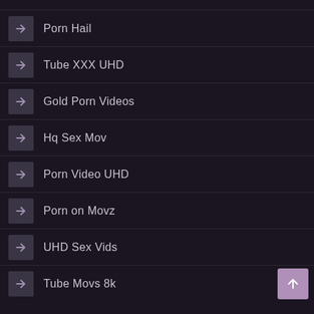Porn Hail
Tube XXX UHD
Gold Porn Videos
Hq Sex Mov
Porn Video UHD
Porn on Movz
UHD Sex Vids
Tube Movs 8k